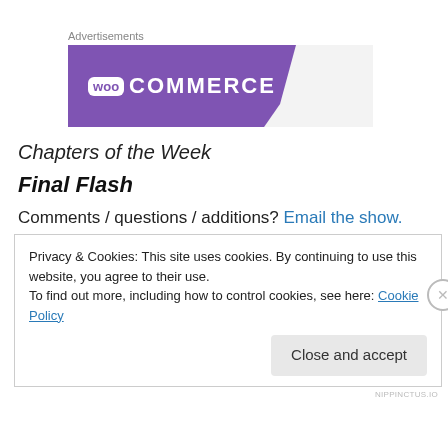[Figure (logo): WooCommerce advertisement banner with purple background and white WooCommerce logo]
Chapters of the Week
Final Flash
Comments / questions / additions? Email the show.
Privacy & Cookies: This site uses cookies. By continuing to use this website, you agree to their use.
To find out more, including how to control cookies, see here: Cookie Policy
Close and accept